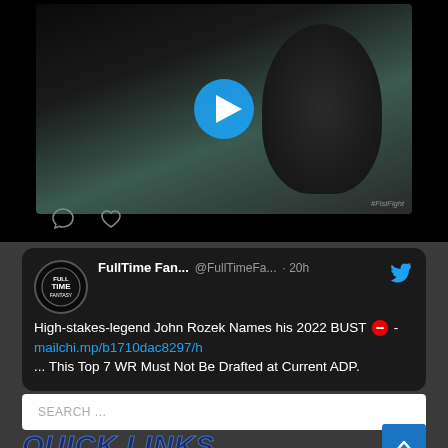[Figure (screenshot): Social media post screenshot. Top portion shows a video thumbnail (dark background, partial face visible, blue play button overlay, #FistFight watermark). Below are comment/heart icons. A tweet from FullTime Fan... @FullTimeFa... 20h with Twitter bird logo. Tweet text: High-stakes-legend John Rozek Names his 2022 BUST 🚫 - mailchi.mp/b1710dac8297/h ... This Top 7 WR Must Not Be Drafted at Current ADP.]
SEARCH ...
QUICK LINKS
Home